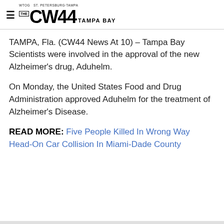WTOG ST. PETERSBURG·TAMPA — THE CW44 TAMPA BAY
TAMPA, Fla. (CW44 News At 10) – Tampa Bay Scientists were involved in the approval of the new Alzheimer's drug, Aduhelm.
On Monday, the United States Food and Drug Administration approved Aduhelm for the treatment of Alzheimer's Disease.
READ MORE: Five People Killed In Wrong Way Head-On Car Collision In Miami-Dade County